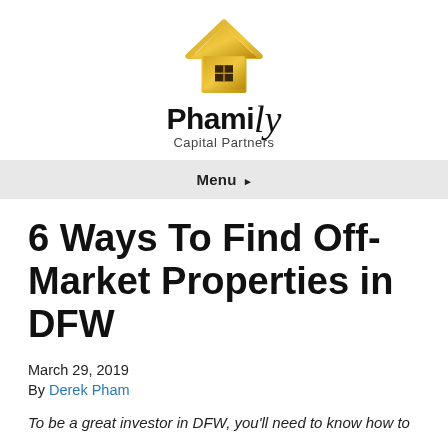[Figure (logo): Phamily Capital Partners logo: gold house icon above the brand name 'Phamily Capital Partners']
Menu ▸
6 Ways To Find Off-Market Properties in DFW
March 29, 2019
By Derek Pham
To be a great investor in DFW, you'll need to know how to